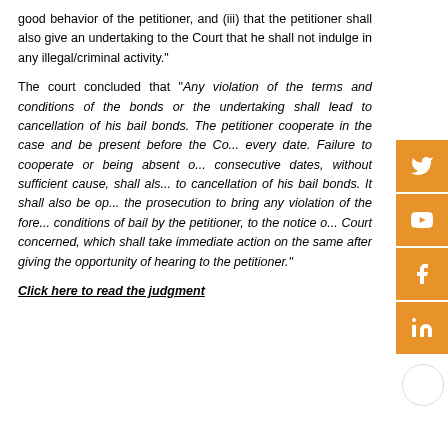good behavior of the petitioner, and (iii) that the petitioner shall also give an undertaking to the Court that he shall not indulge in any illegal/criminal activity."
The court concluded that "Any violation of the terms and conditions of the bonds or the undertaking shall lead to cancellation of his bail bonds. The petitioner cooperate in the case and be present before the Co... every date. Failure to cooperate or being absent o... consecutive dates, without sufficient cause, shall als... to cancellation of his bail bonds. It shall also be op... the prosecution to bring any violation of the fore... conditions of bail by the petitioner, to the notice o... Court concerned, which shall take immediate action on the same after giving the opportunity of hearing to the petitioner."
Click here to read the judgment